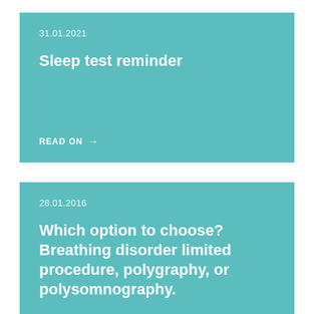31.01.2021
Sleep test reminder
READ ON →
28.01.2016
Which option to choose? Breathing disorder limited procedure, polygraphy, or polysomnography.
READ ON →